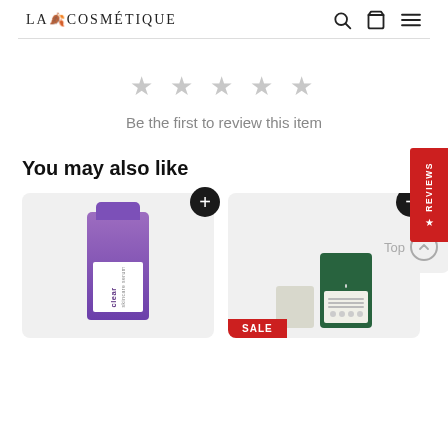LA COSMÉTIQUE
Be the first to review this item
You may also like
[Figure (photo): Product card showing a purple skincare bottle (clear label) on grey background with a '+' add button]
[Figure (photo): Product card showing white patches and a green packaged spot patch product with SALE badge, and a '+' add button]
[Figure (screenshot): Partial 'Top' scroll-to-top button with upward arrow icon]